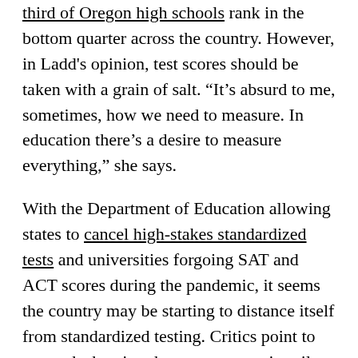third of Oregon high schools rank in the bottom quarter across the country. However, in Ladd's opinion, test scores should be taken with a grain of salt. “It’s absurd to me, sometimes, how we need to measure. In education there’s a desire to measure everything,” she says.
With the Department of Education allowing states to cancel high-stakes standardized tests and universities forgoing SAT and ACT scores during the pandemic, it seems the country may be starting to distance itself from standardized testing. Critics point to research showing that scores are primarily correlated with economic background. Placing too much emphasis on testing can lead to disinterest and anxiety in school, prioritization of rote memorization over critical thinking, and a cookie cutter approach to teaching that can be detrimental to students with learning disabilities.